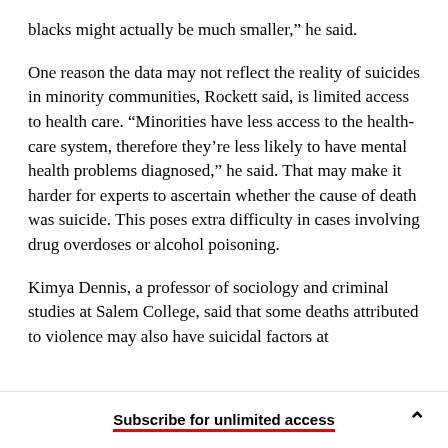blacks might actually be much smaller,” he said.
One reason the data may not reflect the reality of suicides in minority communities, Rockett said, is limited access to health care. “Minorities have less access to the health-care system, therefore they’re less likely to have mental health problems diagnosed,” he said. That may make it harder for experts to ascertain whether the cause of death was suicide. This poses extra difficulty in cases involving drug overdoses or alcohol poisoning.
Kimya Dennis, a professor of sociology and criminal studies at Salem College, said that some deaths attributed to violence may also have suicidal factors at
Subscribe for unlimited access